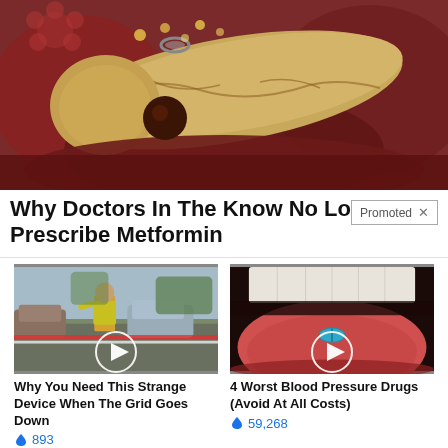[Figure (photo): Close-up medical illustration of a pancreas organ surrounded by other abdominal organs, reddish-brown tones with a yellowish organ in center]
Why Doctors In The Know No Longer Prescribe Metformin
Promoted X
[Figure (photo): Street scene with a worker in yellow safety vest directing traffic, cars in background, play button overlay]
Why You Need This Strange Device When The Grid Goes Down
893
[Figure (photo): Close-up of open mouth with tongue out showing a teal/blue pill on it, play button overlay]
4 Worst Blood Pressure Drugs (Avoid At All Costs)
59,268